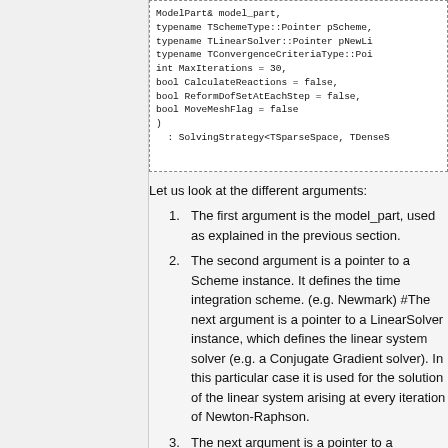[Figure (screenshot): Code block showing C++ constructor parameters including ModelPart& model_part, typename TSchemeType::Pointer pScheme, typename TLinearSolver::Pointer pNewLi..., typename TConvergenceCriteriaType::Poi..., int MaxIterations = 30, bool CalculateReactions = false, bool ReformDofSetAtEachStep = false, bool MoveMeshFlag = false ) : SolvingStrategy<TSparseSpace, TDenseS...]
Let us look at the different arguments:
The first argument is the model_part, used as explained in the previous section.
The second argument is a pointer to a Scheme instance. It defines the time integration scheme. (e.g. Newmark) #The next argument is a pointer to a LinearSolver instance, which defines the linear system solver (e.g. a Conjugate Gradient solver). In this particular case it is used for the solution of the linear system arising at every iteration of Newton-Raphson.
The next argument is a pointer to a ConvergenceCriteria instance. It defines